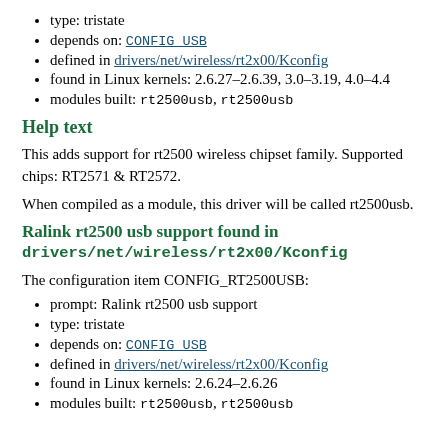type: tristate
depends on: CONFIG_USB
defined in drivers/net/wireless/rt2x00/Kconfig
found in Linux kernels: 2.6.27–2.6.39, 3.0–3.19, 4.0–4.4
modules built: rt2500usb, rt2500usb
Help text
This adds support for rt2500 wireless chipset family. Supported chips: RT2571 & RT2572.
When compiled as a module, this driver will be called rt2500usb.
Ralink rt2500 usb support found in drivers/net/wireless/rt2x00/Kconfig
The configuration item CONFIG_RT2500USB:
prompt: Ralink rt2500 usb support
type: tristate
depends on: CONFIG_USB
defined in drivers/net/wireless/rt2x00/Kconfig
found in Linux kernels: 2.6.24–2.6.26
modules built: rt2500usb, rt2500usb